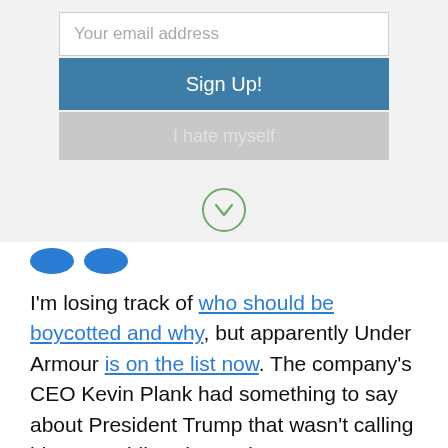[Figure (screenshot): Email signup form with input field 'Your email address', a blue 'Sign Up!' button, and a gray 'I hate myself' button]
[Figure (other): Green-outlined circle with a downward chevron icon]
[Figure (other): Two partial blue avatar/profile circles]
I'm losing track of who should be boycotted and why, but apparently Under Armour is on the list now. The company's CEO Kevin Plank had something to say about President Trump that wasn't calling him a stupidhead meaniepants...